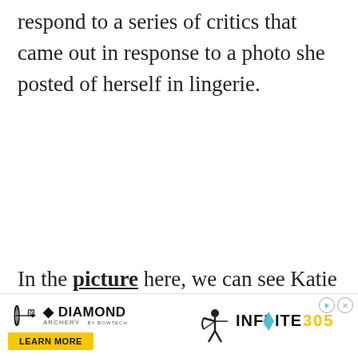respond to a series of critics that came out in response to a photo she posted of herself in lingerie.
In the picture here, we can see Katie wearing some black lingerie as she is lying on her bed. The post was captioned...ally.
[Figure (other): Advertisement banner: Diamond Archery 'Learn More' ad on the left and Infiniti 305 logo on the right with play and close buttons.]